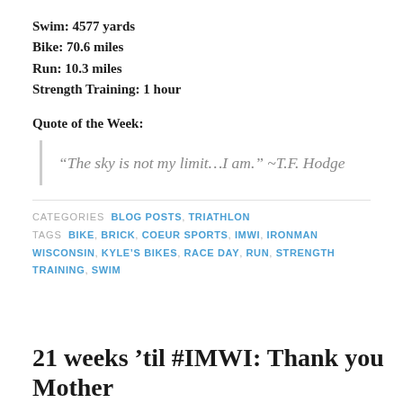Swim: 4577 yards
Bike: 70.6 miles
Run: 10.3 miles
Strength Training: 1 hour
Quote of the Week:
“The sky is not my limit…I am.” ~T.F. Hodge
CATEGORIES  BLOG POSTS, TRIATHLON
TAGS  BIKE, BRICK, COEUR SPORTS, IMWI, IRONMAN WISCONSIN, KYLE’S BIKES, RACE DAY, RUN, STRENGTH TRAINING, SWIM
21 weeks ’til #IMWI: Thank you Mother